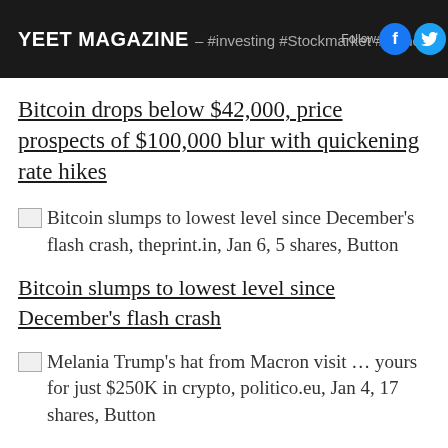YEET MAGAZINE – #investing #Stockmarket #money Follow
Bitcoin drops below $42,000, price prospects of $100,000 blur with quickening rate hikes
Bitcoin slumps to lowest level since December's flash crash, theprint.in, Jan 6, 5 shares, Button
Bitcoin slumps to lowest level since December's flash crash
Melania Trump's hat from Macron visit … yours for just $250K in crypto, politico.eu, Jan 4, 17 shares, Button